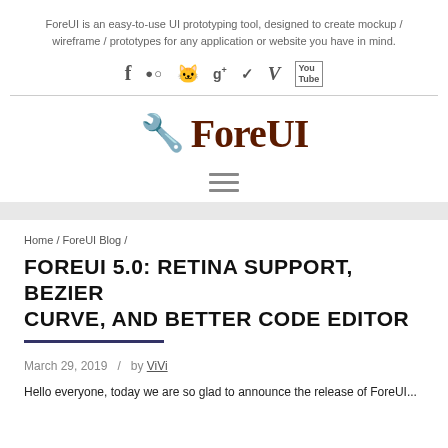ForeUI is an easy-to-use UI prototyping tool, designed to create mockup / wireframe / prototypes for any application or website you have in mind.
[Figure (infographic): Social media icons row: Facebook, Flickr, GitHub, Google+, Twitter, Vimeo, YouTube]
[Figure (logo): ForeUI logo with wrench emoji and bold dark red text 'ForeUI']
[Figure (other): Hamburger menu icon (three horizontal lines)]
Home / ForeUI Blog /
FOREUI 5.0: RETINA SUPPORT, BEZIER CURVE, AND BETTER CODE EDITOR
March 29, 2019   /   by ViVi
Hello everyone, today we are so glad to announce the release of ForeUI...